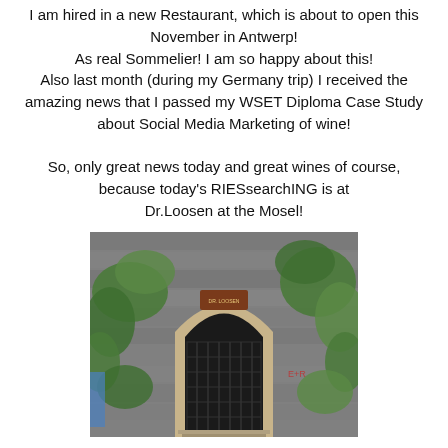I am hired in a new Restaurant, which is about to open this November in Antwerp!
As real Sommelier! I am so happy about this!
Also last month (during my Germany trip) I received the amazing news that I passed my WSET Diploma Case Study about Social Media Marketing of wine!

So, only great news today and great wines of course, because today's RIESsearchING is at Dr.Loosen at the Mosel!
[Figure (photo): Photo of the entrance to Weingut Dr. Loosen winery, showing a stone archway with an ornate iron gate, ivy-covered stone walls, and a sign reading Dr. Loosen above the gate.]